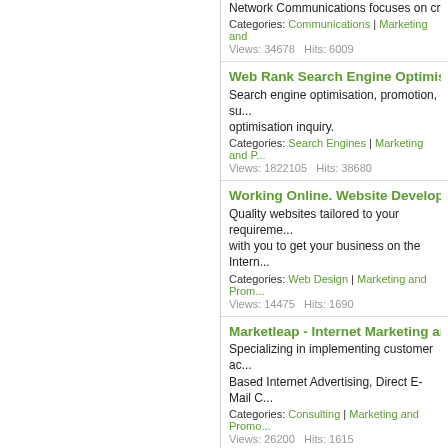Network Communications focuses on cre... Categories: Communications | Marketing and... Views: 34678   Hits: 6009
Web Rank Search Engine Optimisati... Search engine optimisation, promotion, su... optimisation inquiry. Categories: Search Engines | Marketing and P... Views: 1822105   Hits: 38680
Working Online. Website Developers... Quality websites tailored to your requireme... with you to get your business on the Intern... Categories: Web Design | Marketing and Prom... Views: 14475   Hits: 1690
Marketleap - Internet Marketing and... Specializing in implementing customer ac... Based Internet Advertising, Direct E-Mail C... Categories: Consulting | Marketing and Promo... Views: 26200   Hits: 1615